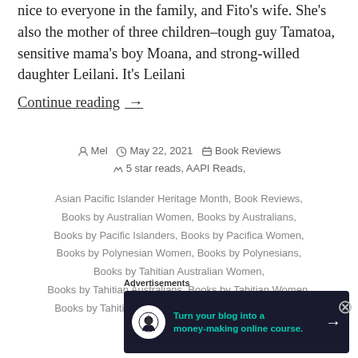nice to everyone in the family, and Fito's wife. She's also the mother of three children–tough guy Tamatoa, sensitive mama's boy Moana, and strong-willed daughter Leilani. It's Leilani
Continue reading  →
Posted by  Mel   May 22, 2021   Book Reviews
5 star reads, AAPI Reads, Asian Pacific Islander Heritage Month, Book Reviews, Books by Australian Women, Books by Australians, Books by Pacific Islanders, Books by Pacifica Women, Books by Polynesian Women, Books by Polynesians, Books by Tahitian Australian Women, Books by Tahitian Australians, Books by Tahitian Women, Books by Tahitians, Books by women, Celestine Vaite,
Advertisements
[Figure (other): Advertisement banner: Turn your blog into a money-making online course.]